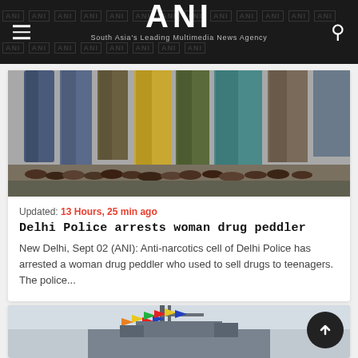ANI — South Asia's Leading Multimedia News Agency
[Figure (photo): Photo showing lower bodies/legs of several people standing, wearing colorful traditional clothing and sandals]
Updated: 13 Hours, 25 min ago
Delhi Police arrests woman drug peddler
New Delhi, Sept 02 (ANI): Anti-narcotics cell of Delhi Police has arrested a woman drug peddler who used to sell drugs to teenagers. The police...
[Figure (photo): Photo showing a naval ship decorated with colorful signal flags strung along its mast against a grey sky]